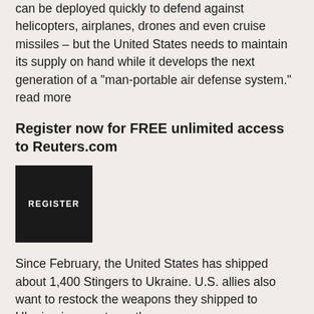can be deployed quickly to defend against helicopters, airplanes, drones and even cruise missiles – but the United States needs to maintain its supply on hand while it develops the next generation of a "man-portable air defense system." read more
Register now for FREE unlimited access to Reuters.com
[Figure (other): Black square button with white text reading REGISTER]
Since February, the United States has shipped about 1,400 Stingers to Ukraine. U.S. allies also want to restock the weapons they shipped to Ukraine in recent months.